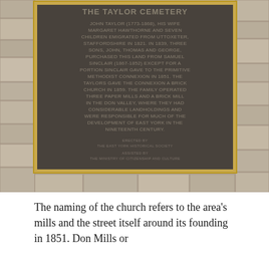[Figure (photo): Photograph of a bronze historical plaque mounted on a stone wall. The plaque reads: THE TAYLOR CEMETERY. JOHN TAYLOR (1773-1868), HIS WIFE MARGARET HAWTHORNE AND SEVEN CHILDREN EMIGRATED FROM UTTOXETER, STAFFORDSHIRE IN 1821. IN 1839, THREE SONS, JOHN, THOMAS AND GEORGE, PURCHASED THIS LAND FROM SAMUEL SINCLAIR (1867-1852) EXCEPT FOR A PORTION SINCLAIR GAVE TO THE PRIMITIVE METHODIST CONNEXION IN 1851. THE TAYLORS GAVE THE CONNEXION A BRICK CHURCH IN 1859. THE FAMILY OPERATED THREE PAPER MILLS AND A BRICK MILL IN THE DON VALLEY, WHERE THEY HAD CONSIDERABLE LANDHOLDINGS AND WERE RESPONSIBLE FOR MUCH OF THE DEVELOPMENT OF EAST YORK IN THE NINETEENTH CENTURY. ERECTED BY THE EAST YORK HISTORICAL SOCIETY. ASSISTED BY THE MINISTRY OF CITIZENSHIP AND CULTURE.]
The naming of the church refers to the area's mills and the street itself around its founding in 1851. Don Mills or